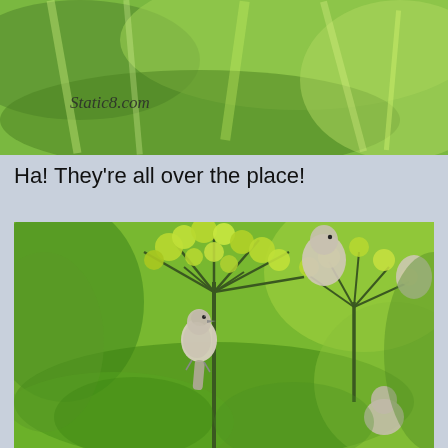[Figure (photo): Top portion of a photo showing blurry green foliage/plants with a watermark text 'Static8.com' in dark gray italic font on the left side]
Ha! They're all over the place!
[Figure (photo): Photo of small gray/white birds (bushtits) perched among green plant stems and flower buds, with multiple birds visible among the foliage]